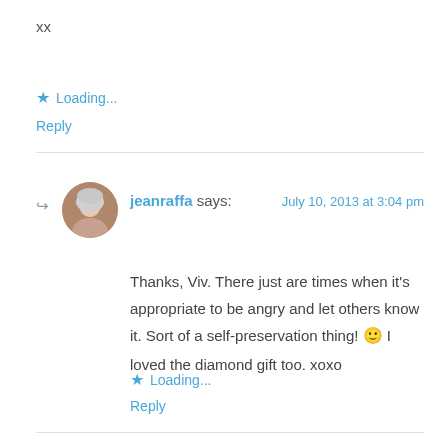xx
★ Loading...
Reply
jeanraffa says: July 10, 2013 at 3:04 pm
Thanks, Viv. There just are times when it's appropriate to be angry and let others know it. Sort of a self-preservation thing! 🙂 I loved the diamond gift too. xoxo
★ Loading...
Reply